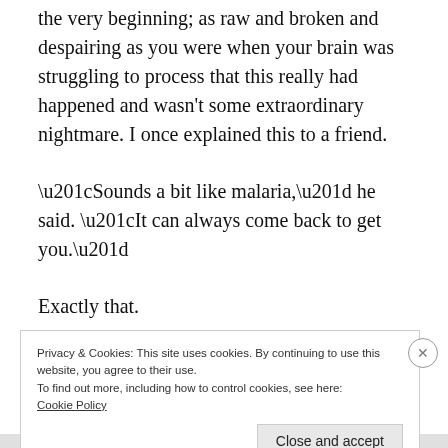the very beginning; as raw and broken and despairing as you were when your brain was struggling to process that this really had happened and wasn't some extraordinary nightmare. I once explained this to a friend.
“Sounds a bit like malaria,” he said. “It can always come back to get you.”
Exactly that.
Privacy & Cookies: This site uses cookies. By continuing to use this website, you agree to their use.
To find out more, including how to control cookies, see here:
Cookie Policy
Close and accept